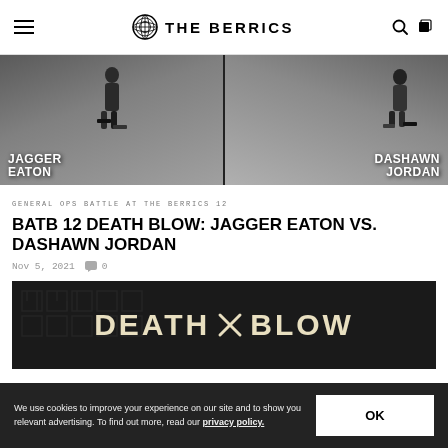THE BERRICS
[Figure (photo): Split skateboarding battle image showing Jagger Eaton on the left and Dashawn Jordan on the right, both performing skateboard tricks on a dark ramp]
GENERAL OPS BATTLE AT THE BERRICS 12
BATB 12 DEATH BLOW: JAGGER EATON VS. DASHAWN JORDAN
Nov 5, 2021   0
[Figure (photo): Death Blow title card in cream/beige text on dark background with crossed tools icon between DEATH and BLOW words, decorative maze-like pattern in background]
We use cookies to improve your experience on our site and to show you relevant advertising. To find out more, read our privacy policy.